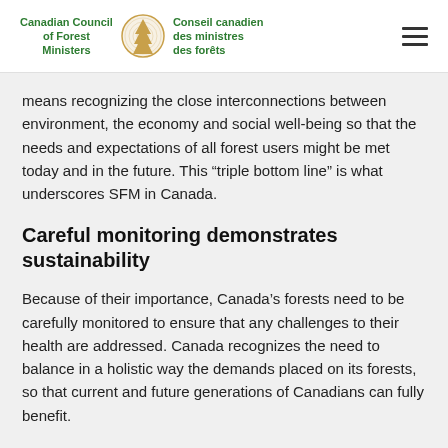Canadian Council of Forest Ministers | Conseil canadien des ministres des forêts
means recognizing the close interconnections between environment, the economy and social well-being so that the needs and expectations of all forest users might be met today and in the future. This “triple bottom line” is what underscores SFM in Canada.
Careful monitoring demonstrates sustainability
Because of their importance, Canada’s forests need to be carefully monitored to ensure that any challenges to their health are addressed. Canada recognizes the need to balance in a holistic way the demands placed on its forests, so that current and future generations of Canadians can fully benefit.